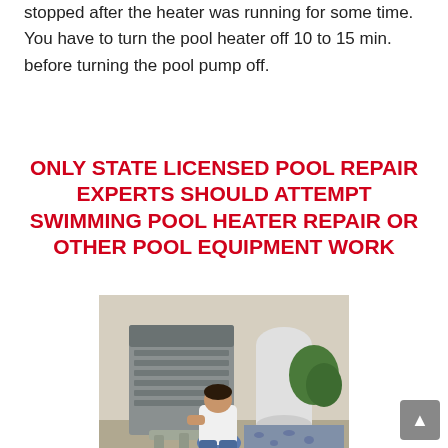stopped after the heater was running for some time. You have to turn the pool heater off 10 to 15 min. before turning the pool pump off.
ONLY STATE LICENSED POOL REPAIR EXPERTS SHOULD ATTEMPT SWIMMING POOL HEATER REPAIR OR OTHER POOL EQUIPMENT WORK
[Figure (photo): A technician kneeling beside a pool heater unit outdoors, working on the equipment. A white cylindrical tank and green plants are visible in the background.]